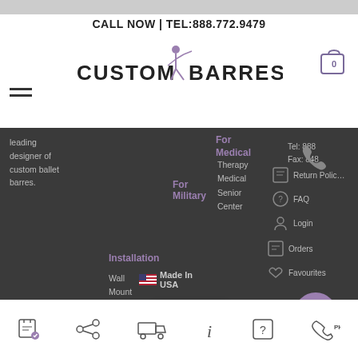CALL NOW | TEL:888.772.9479
[Figure (logo): Custom Barres logo with dancer silhouette]
leading designer of custom ballet barres.
For Medical
For Military
Therapy Medical Senior Center
Installation
Made In USA
Wall Mount Install Mirrored Wall
Return Policy FAQ Login Orders Favourites
Tel: 888 Fax: 848
Chat with us
Bottom navigation bar icons